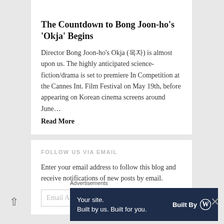May 17, 2017
The Countdown to Bong Joon-ho's 'Okja' Begins
Director Bong Joon-ho's Okja (옥자) is almost upon us. The highly anticipated science-fiction/drama is set to premiere In Competition at the Cannes Int. Film Festival on May 19th, before appearing on Korean cinema screens around June…
Read More
FOLLOW US VIA EMAIL
Enter your email address to follow this blog and receive notifications of new posts by email.
Email Address
Advertisements
[Figure (infographic): Advertisement banner with dark navy background. Left side: 'Your site. Built by us. Built for you.' Right side: 'Built By' with WordPress logo.]